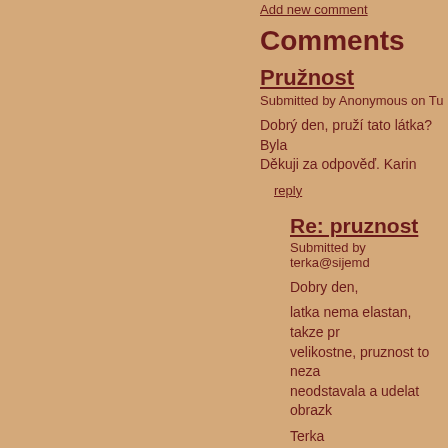Add new comment
Comments
Pružnost
Submitted by Anonymous on Tu
Dobrý den, pruží tato látka? Byla Děkuji za odpověď. Karin
reply
Re: pruznost
Submitted by terka@sijemd
Dobry den,
latka nema elastan, takze pr velikostne, pruznost to neza neodstavala a udelat obrazk
Terka
reply
Vhodne naplety
Submitted by Anonymous